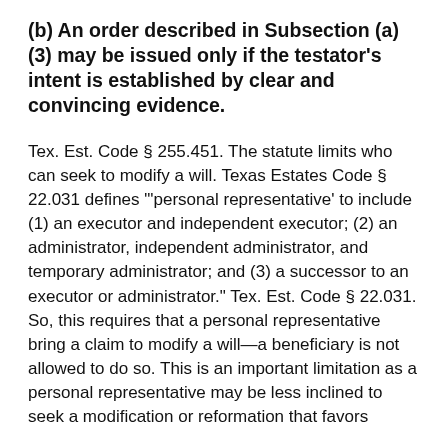(b) An order described in Subsection (a)(3) may be issued only if the testator's intent is established by clear and convincing evidence.
Tex. Est. Code § 255.451. The statute limits who can seek to modify a will. Texas Estates Code § 22.031 defines "'personal representative' to include (1) an executor and independent executor; (2) an administrator, independent administrator, and temporary administrator; and (3) a successor to an executor or administrator." Tex. Est. Code § 22.031. So, this requires that a personal representative bring a claim to modify a will—a beneficiary is not allowed to do so. This is an important limitation as a personal representative may be less inclined to seek a modification or reformation that favors